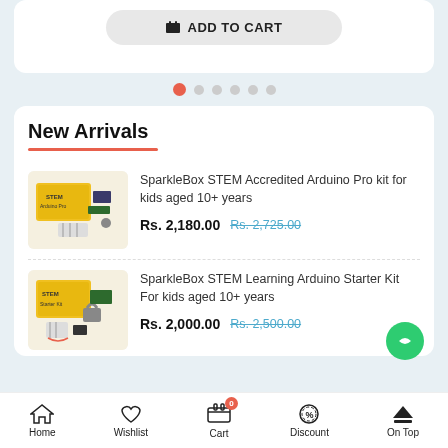[Figure (screenshot): ADD TO CART button (partial top card)]
[Figure (illustration): Carousel dot indicators, first dot active (orange), five inactive (gray)]
New Arrivals
SparkleBox STEM Accredited Arduino Pro kit for kids aged 10+ years
Rs. 2,180.00  Rs. 2,725.00
SparkleBox STEM Learning Arduino Starter Kit For kids aged 10+ years
Rs. 2,000.00  Rs. 2,500.00
Home  Wishlist  Cart  Discount  On Top